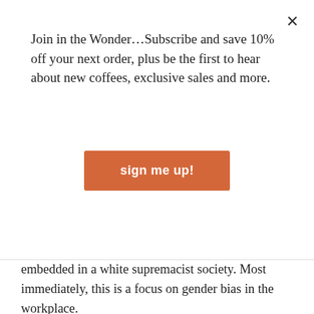Join in the Wonder…Subscribe and save 10% off your next order, plus be the first to hear about new coffees, exclusive sales and more.
sign me up!
embedded in a white supremacist society. Most immediately, this is a focus on gender bias in the workplace.
I want to acknowledge the work of those that have most directly impacted and educated me around issues of racism and gender and have spoken out to challenge our company culture:
First and foremost, Shizue Roche Adachi – our Brand and Marketing Manager, for demonstrating on all levels what allyship looks like, for having patience with